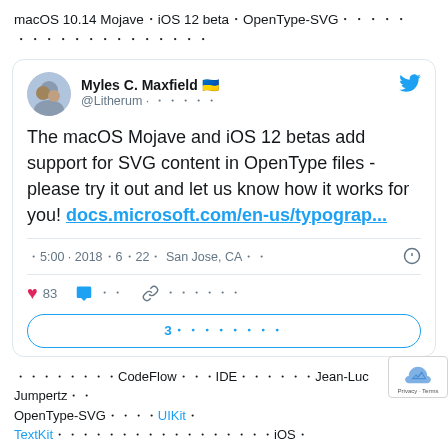macOS 10.14 Mojave・iOS 12 beta・OpenType-SVG・・・・・・・・・・・・・・・・・・・・・・・・
[Figure (screenshot): Embedded tweet from Myles C. Maxfield (@Litherum) with Ukrainian flag emoji, posted at 5:00 on 2018/6/22 from San Jose, CA. Tweet text: 'The macOS Mojave and iOS 12 betas add support for SVG content in OpenType files - please try it out and let us know how it works for you! docs.microsoft.com/en-us/typograp...' with 83 likes and reply/share actions. A '3 replies' button appears at the bottom.]
CodeFlow・IDE・Jean-Luc Jumpertz・OpenType-SVG・UIKit・TextKit・・・・・・・・・・・・・・iOS